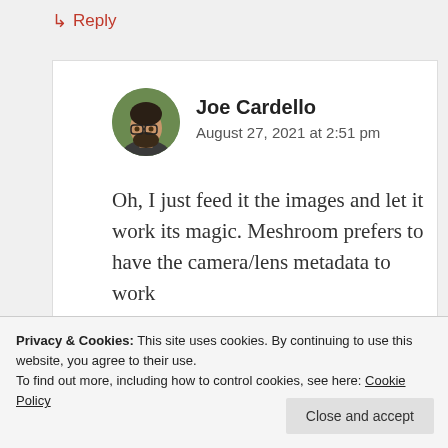↳ Reply
Joe Cardello
August 27, 2021 at 2:51 pm
[Figure (photo): Circular avatar photo of Joe Cardello, a man with glasses and a beard, outdoors with green foliage background]
Oh, I just feed it the images and let it work its magic. Meshroom prefers to have the camera/lens metadata to work with, but it'll try to figure that stuff out
out objects that move so they don't
Privacy & Cookies: This site uses cookies. By continuing to use this website, you agree to their use.
To find out more, including how to control cookies, see here: Cookie Policy
Close and accept